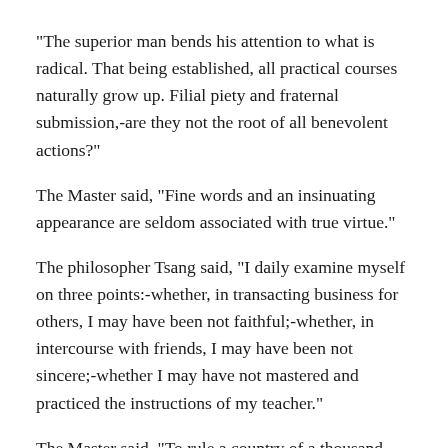“The superior man bends his attention to what is radical. That being established, all practical courses naturally grow up. Filial piety and fraternal submission,-are they not the root of all benevolent actions?”
The Master said, “Fine words and an insinuating appearance are seldom associated with true virtue.”
The philosopher Tsang said, “I daily examine myself on three points:-whether, in transacting business for others, I may have been not faithful;-whether, in intercourse with friends, I may have been not sincere;-whether I may have not mastered and practiced the instructions of my teacher.”
The Master said, “To rule a country of a thousand chariots, there must be reverent attention to business, and sincerity; economy in expenditure, and love for men; and the employment of the